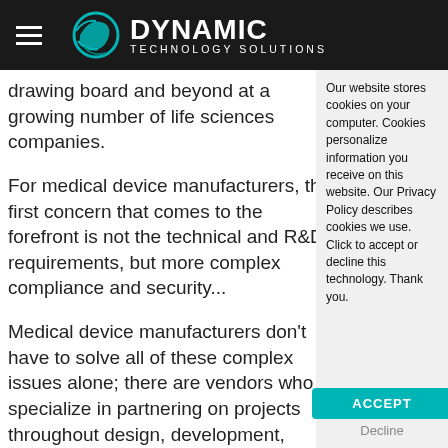Dynamic Technology Solutions
drawing board and beyond at a growing number of life sciences companies.
For medical device manufacturers, the first concern that comes to the forefront is not the technical and R&D requirements, but more complex compliance and security...
Medical device manufacturers don't have to solve all of these complex issues alone; there are vendors who specialize in partnering on projects throughout design, development, validation, production and lifecycle management to help achieve compliant, connected IT...
Our website stores cookies on your computer. Cookies personalize information you receive on this website. Our Privacy Policy describes cookies we use. Click to accept or decline this technology. Thank you.